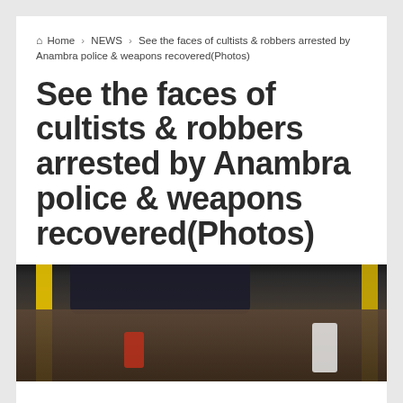Home > NEWS > See the faces of cultists & robbers arrested by Anambra police & weapons recovered(Photos)
See the faces of cultists & robbers arrested by Anambra police & weapons recovered(Photos)
[Figure (photo): Crowd of people, mostly sitting on ground, with yellow poles and a dark vehicle in the background, outdoor setting]